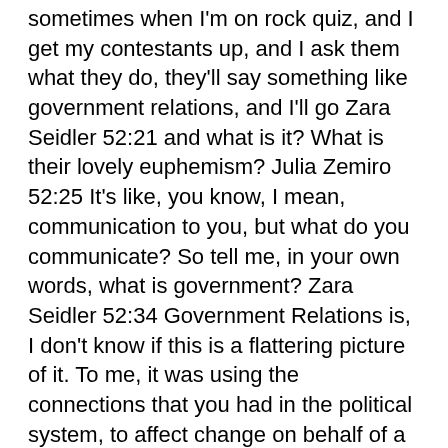sometimes when I'm on rock quiz, and I get my contestants up, and I ask them what they do, they'll say something like government relations, and I'll go Zara Seidler 52:21 and what is it? What is their lovely euphemism? Julia Zemiro 52:25 It's like, you know, I mean, communication to you, but what do you communicate? So tell me, in your own words, what is government? Zara Seidler 52:34 Government Relations is, I don't know if this is a flattering picture of it. To me, it was using the connections that you had in the political system, to affect change on behalf of a client. So ultimately, it is lobbying. And my role during that time, was to specifically have those relationships with the independent politicians, so members of the crossbench. And that was fascinating. Because the thing with that is that you get across every policy in you could ever think of because you're not married or tied to one client with one policy area, you learn about health, about science, about tech, and it's sort of just this amazing, deep dive in association of this and is this is all over the with